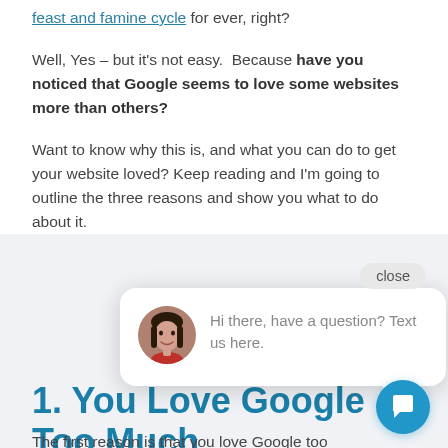feast and famine cycle for ever, right?
Well, Yes – but it's not easy.  Because have you noticed that Google seems to love some websites more than others?
Want to know why this is, and what you can do to get your website loved? Keep reading and I'm going to outline the three reasons and show you what to do about it.
[Figure (other): Chat popup widget with avatar photo of a woman, text 'Hi there, have a question? Text us here.' and a close button, plus a blue circular chat icon button]
1. You Love Google Too Much
The first reason is that you love Google too